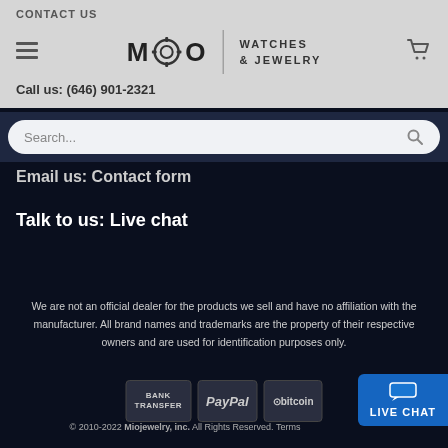CONTACT US
[Figure (logo): MIO Watches & Jewelry logo with circular gear icon and vertical divider]
Call us: (646) 901-2321
Search...
Email us: Contact form
Talk to us: Live chat
We are not an official dealer for the products we sell and have no affiliation with the manufacturer. All brand names and trademarks are the property of their respective owners and are used for identification purposes only.
[Figure (logo): Payment icons: Bank Transfer, PayPal, Bitcoin]
© 2010-2022 Miojewelry, inc. All Rights Reserved. Terms